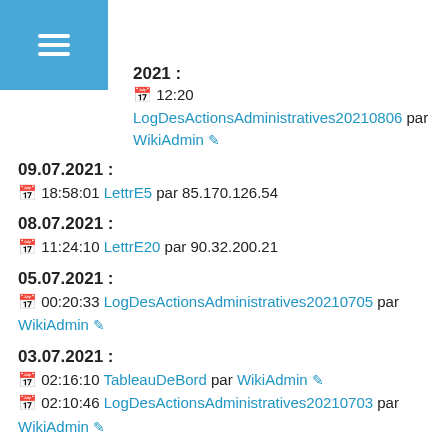2021 :
12:20 LogDesActionsAdministratives20210806 par WikiAdmin
09.07.2021 :
18:58:01 LettrE5 par 85.170.126.54
08.07.2021 :
11:24:10 LettrE20 par 90.32.200.21
05.07.2021 :
00:20:33 LogDesActionsAdministratives20210705 par WikiAdmin
03.07.2021 :
02:16:10 TableauDeBord par WikiAdmin
02:10:46 LogDesActionsAdministratives20210703 par WikiAdmin
29.06.2021 :